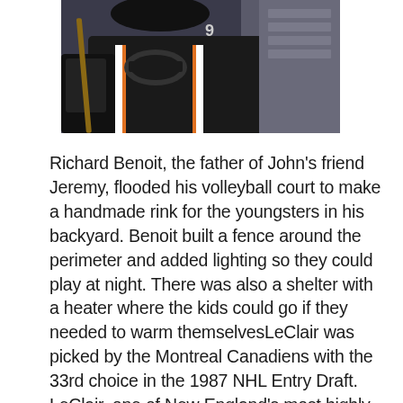[Figure (photo): A hockey player in a dark jersey with white and orange accents, holding a stick, photographed from chest/torso level. Crowd visible in background.]
Richard Benoit, the father of John's friend Jeremy, flooded his volleyball court to make a handmade rink for the youngsters in his backyard. Benoit built a fence around the perimeter and added lighting so they could play at night. There was also a shelter with a heater where the kids could go if they needed to warm themselvesLeClair was picked by the Montreal Canadiens with the 33rd choice in the 1987 NHL Entry Draft. LeClair, one of New England's most highly recruited hockey prospects, put his NHL dreams on hold to attend the University of Vermont on a full scholarship.